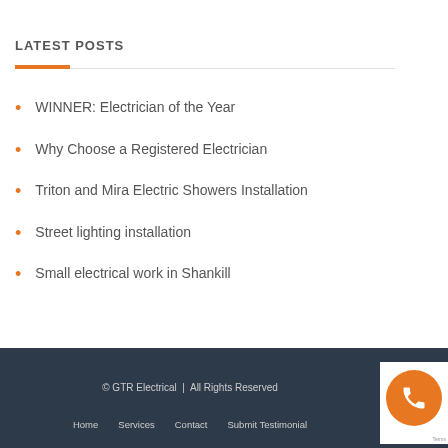LATEST POSTS
WINNER: Electrician of the Year
Why Choose a Registered Electrician
Triton and Mira Electric Showers Installation
Street lighting installation
Small electrical work in Shankill
© GTR Electrical | All Rights Reserved
Home   Services   Contact   Submit Testimonial